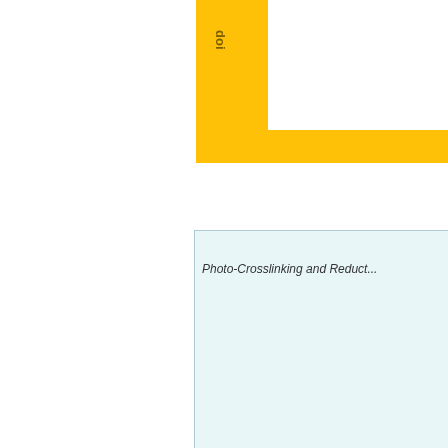doi
Photo-Crosslinking and Reduct...
[Figure (illustration): Illustration showing polymer chain network with dark blue teardrop-shaped groups attached to green curved polymer strands, representing photo-crosslinkable polymer network structure]
Abstract  This stu... based networks containing ... derivative of hydroxymethyl... the formation of linear net... induced crosslinking behav... which can be photolytically...